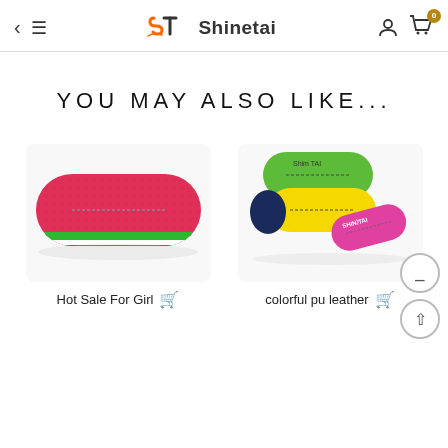Shinetai
YOU MAY ALSO LIKE...
[Figure (photo): Pink/red hard glasses case with green and white stripe, textured surface]
Hot Sale For Girl
[Figure (photo): Multiple colorful glasses cases stacked - green, yellow, navy blue, and pink, with Shinetai branding]
colorful pu leather